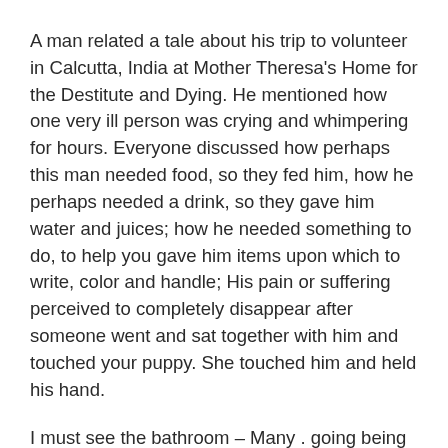A man related a tale about his trip to volunteer in Calcutta, India at Mother Theresa's Home for the Destitute and Dying. He mentioned how one very ill person was crying and whimpering for hours. Everyone discussed how perhaps this man needed food, so they fed him, how he perhaps needed a drink, so they gave him water and juices; how he needed something to do, to help you gave him items upon which to write, color and handle; His pain or suffering perceived to completely disappear after someone went and sat together with him and touched your puppy. She touched him and held his hand.
I must see the bathroom – Many . going being problem for a long time while traveling with little companies. Pulling away from the rest stop with no sign of one other rest stop for more than 2 hours then suddenly one of your kids realizes he or she always be go potty. It can literally drive a mom or dad insane unless that